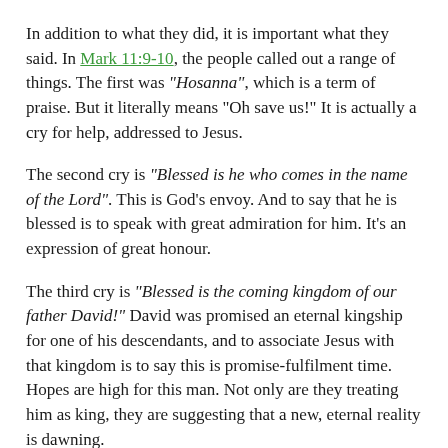In addition to what they did, it is important what they said. In Mark 11:9-10, the people called out a range of things. The first was "Hosanna", which is a term of praise. But it literally means "Oh save us!" It is actually a cry for help, addressed to Jesus.
The second cry is "Blessed is he who comes in the name of the Lord". This is God's envoy. And to say that he is blessed is to speak with great admiration for him. It's an expression of great honour.
The third cry is "Blessed is the coming kingdom of our father David!" David was promised an eternal kingship for one of his descendants, and to associate Jesus with that kingdom is to say this is promise-fulfilment time. Hopes are high for this man. Not only are they treating him as king, they are suggesting that a new, eternal reality is dawning.
The fourth cry "Hosanna in the highest" implies that heaven is